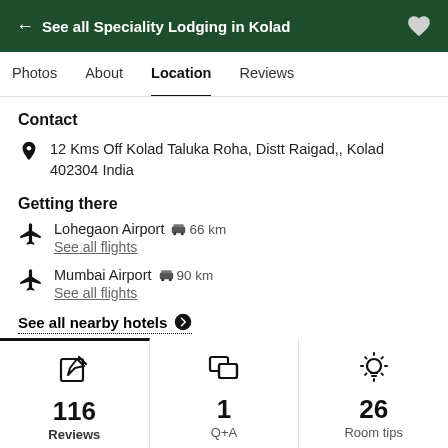← See all Speciality Lodging in Kolad
Photos  About  Location  Reviews
Contact
12 Kms Off Kolad Taluka Roha, Distt Raigad,, Kolad 402304 India
Getting there
Lohegaon Airport  🚌 66 km
See all flights
Mumbai Airport  🚌 90 km
See all flights
See all nearby hotels ➤
116
Reviews
1
Q+A
26
Room tips